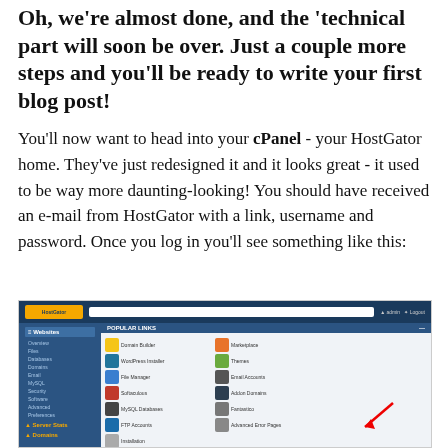Oh, we're almost done, and the 'technical part will soon be over. Just a couple more steps and you'll be ready to write your first blog post!
You'll now want to head into your cPanel - your HostGator home. They've just redesigned it and it looks great - it used to be way more daunting-looking! You should have received an e-mail from HostGator with a link, username and password. Once you log in you'll see something like this:
[Figure (screenshot): Screenshot of HostGator cPanel interface showing the dashboard with Popular Links and Essentials sections, sidebar navigation with Websites, Server Stats, and Domains sections, and icons for Domain Builder, Marketplace, WordPress Installer, Themes, File Manager, Email Accounts, Softaculous, Addon Domains, MySQL Databases, Fantastico, FTP Accounts, Advanced Error Pages, and Installation options.]